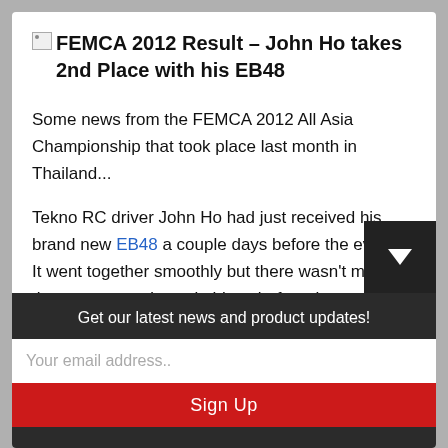FEMCA 2012 Result – John Ho takes 2nd Place with his EB48
Some news from the FEMCA 2012 All Asia Championship that took place last month in Thailand...
Tekno RC driver John Ho had just received his brand new EB48 a couple days before the event.  It went together smoothly but there wasn't much time to tune and tweak things before the race.  The venu
Get our latest news and product updates!
Your email address..
Sign Up